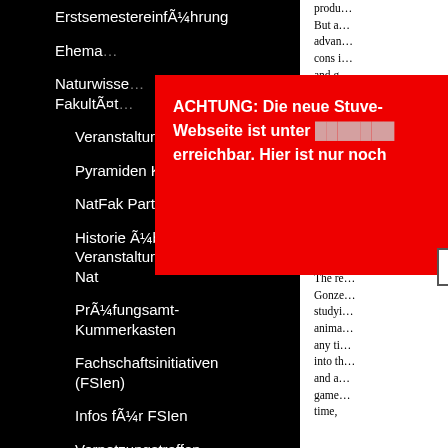ErstsemestereinführungÂ
Ehema…
Naturwisse… Fakultät…
Veranstaltungen
Pyramiden Konferenz
NatFak Party
Historie Über Veranstaltungen der FSV Nat
Prüfungsamt-Kummerkasten
Fachschaftsinitiativen (FSIen)
Infos für FSIen
Vernetzungstreffen
Haushaltsmittel
Sitzungen und Protokalle
[Figure (screenshot): Red alert overlay popup with German text: ACHTUNG: Die neue Stuve-Webseite ist unter [link] erreichbar. Hier ist nur noch Archiv. With an X close button.]
produ… But a… advan… cons i… and g…
To cre… about… gener… graph… are el… half w… anoth… look i… Comm… stand…
The re… Gonze… studyi… anima… any ti… into th… and a… game… time,…